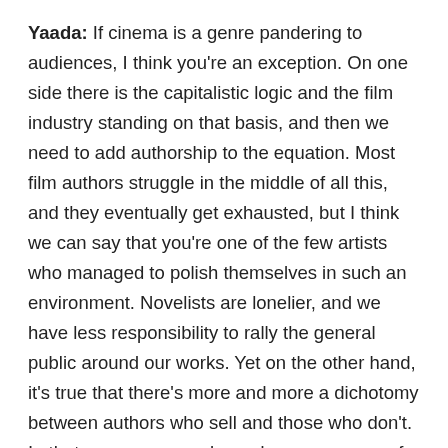Yaada: If cinema is a genre pandering to audiences, I think you're an exception. On one side there is the capitalistic logic and the film industry standing on that basis, and then we need to add authorship to the equation. Most film authors struggle in the middle of all this, and they eventually get exhausted, but I think we can say that you're one of the few artists who managed to polish themselves in such an environment. Novelists are lonelier, and we have less responsibility to rally the general public around our works. Yet on the other hand, it's true that there's more and more a dichotomy between authors who sell and those who don't. In that sense your works and your own way of life gives a clear indication about all of this. How to both let your authorship untouched and live on in the industry, how to pass your